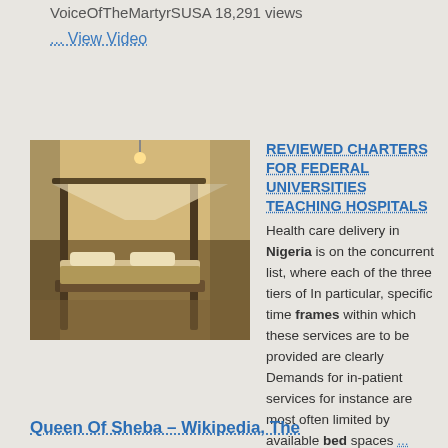VoiceOfTheMartyrSUSA 18,291 views
... View Video
[Figure (photo): Photo of an ornate four-poster bed with canopy in a dimly lit room]
REVIEWED CHARTERS FOR FEDERAL UNIVERSITIES TEACHING HOSPITALS
Health care delivery in Nigeria is on the concurrent list, where each of the three tiers of In particular, specific time frames within which these services are to be provided are clearly Demands for in-patient services for instance are most often limited by available bed spaces ... Retrieve Doc
Queen Of Sheba – Wikipedia, The